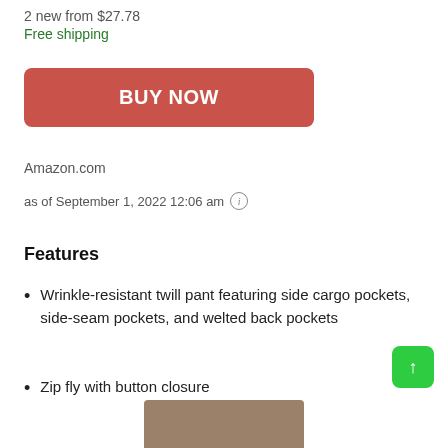2 new from $27.78
Free shipping
BUY NOW
Amazon.com
as of September 1, 2022 12:06 am ℹ
Features
Wrinkle-resistant twill pant featuring side cargo pockets, side-seam pockets, and welted back pockets
Zip fly with button closure
[Figure (photo): Bottom portion of product image showing pants, partially cropped]